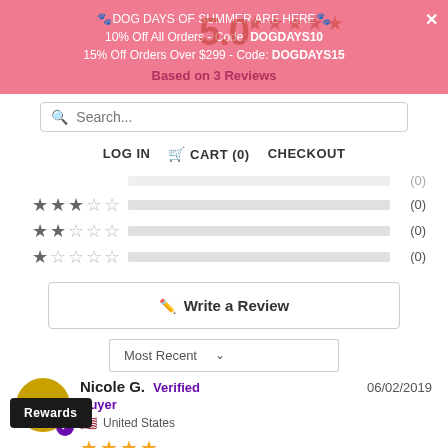🐾DOG DAYS OF SUMMER ARE HERE🐾
10% Off All Orders - Code: DOGDAYS10
15% Off Orders Over $299 - Code: DOGDAYS15
Based on 3 Reviews
[Figure (other): Search bar with magnifier icon and placeholder text 'Search...']
LOG IN   🛒 CART (0)   CHECKOUT
[Figure (other): Star rating breakdown rows: 3-star (0), 2-star (0), 1-star (0) with empty progress bars]
[Figure (other): Write a Review button with edit icon]
[Figure (other): Most Recent sort dropdown with chevron]
Nicole G.  Verified Buyer  06/02/2019
United States
[Figure (other): 4-star review rating stars (gold)]